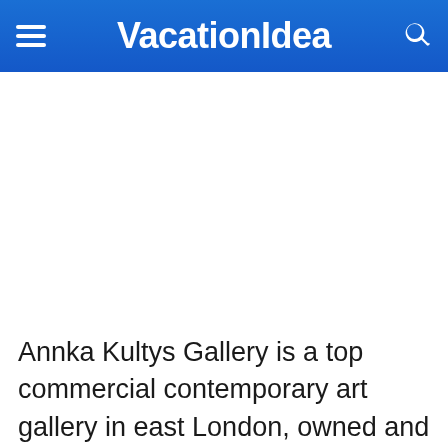VacationIdea
[Figure (photo): Empty white image placeholder area]
Annka Kultys Gallery is a top commercial contemporary art gallery in east London, owned and operated by its namesake curator since September of 2015. The gallery serves